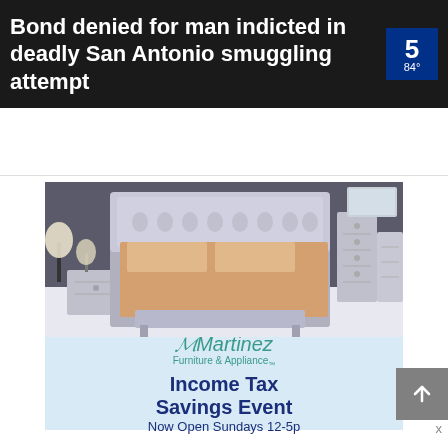[Figure (screenshot): News broadcast screenshot showing text: Bond denied for man indicted in deadly San Antonio smuggling attempt, with Channel 5 logo and 84° temperature]
[Figure (infographic): Carousel navigation with left arrow, one red dot (active), four grey dots, right arrow]
[Figure (photo): Martinez Furniture & Appliance advertisement showing silver bedroom furniture set (bed with tufted headboard, nightstand, tall dresser, wide dresser) and text: Income Tax Savings Event, Now Open Sundays 12-5p]